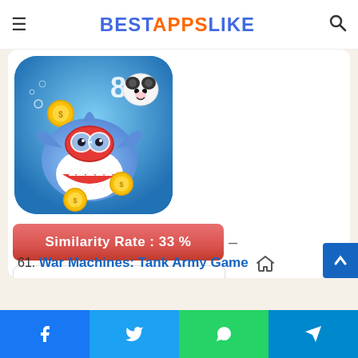BESTAPPSLIKE
[Figure (illustration): Colorful cartoon game app icon showing a shark character wearing scuba gear with coins, a panda, and the number 8, on a blue aquatic background]
Similarity Rate : 33 %
Similar Apps
61. War Machines: Tank Army Game
Share buttons: Facebook, Twitter, WhatsApp, Telegram